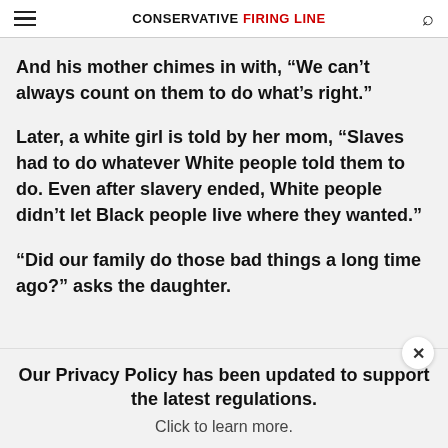CONSERVATIVE FIRING LINE
And his mother chimes in with, “We can’t always count on them to do what’s right.”
Later, a white girl is told by her mom, “Slaves had to do whatever White people told them to do. Even after slavery ended, White people didn’t let Black people live where they wanted.”
“Did our family do those bad things a long time ago?” asks the daughter.
Our Privacy Policy has been updated to support the latest regulations. Click to learn more.